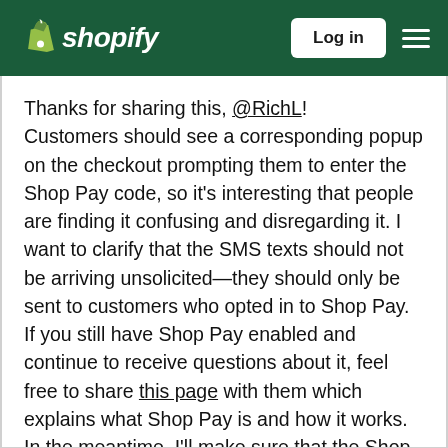Shopify — Log in
Thanks for sharing this, @RichL! Customers should see a corresponding popup on the checkout prompting them to enter the Shop Pay code, so it's interesting that people are finding it confusing and disregarding it. I want to clarify that the SMS texts should not be arriving unsolicited—they should only be sent to customers who opted in to Shop Pay. If you still have Shop Pay enabled and continue to receive questions about it, feel free to share this page with them which explains what Shop Pay is and how it works. In the meantime, I'll make sure that the Shop team receives this feedback.